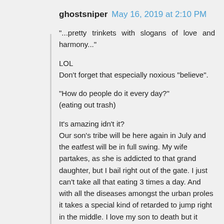ghostsniper  May 16, 2019 at 2:10 PM
"...pretty trinkets with slogans of love and harmony..."

LOL
Don't forget that especially noxious "believe".

"How do people do it every day?"
(eating out trash)

It's amazing idn't it?
Our son's tribe will be here again in July and the eatfest will be in full swing. My wife partakes, as she is addicted to that grand daughter, but I bail right out of the gate. I just can't take all that eating 3 times a day. And with all the diseases amongst the urban proles it takes a special kind of retarded to jump right in the middle. I love my son to death but it went off the rails when he set out on his own and try as I might he keeps resisting my snippets of wisdom. There's nothing I can do for him and them. In a major grid down...